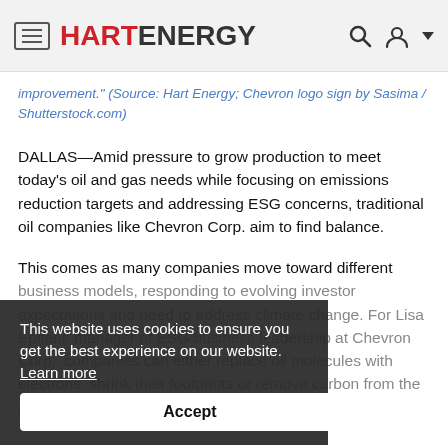HART ENERGY
improvement." (Source: Hart Energy; Chevron logo sign by Sasima / Shutterstock.com)
DALLAS—Amid pressure to grow production to meet today's oil and gas needs while focusing on emissions reduction targets and addressing ESG concerns, traditional oil companies like Chevron Corp. aim to find balance.
This comes as many companies move toward different business models, responding to evolving investor expectations and need to address climate change. For Lisa Epifani, manager of ESG business leadership at Chevron Corp., companies can either replace oil molecules with electrons, shrink their footprints or remove carbon from the air.